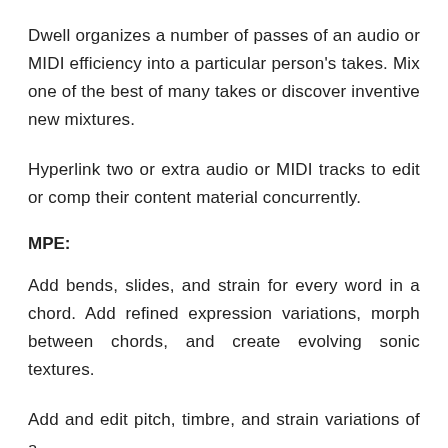Dwell organizes a number of passes of an audio or MIDI efficiency into a particular person's takes. Mix one of the best of many takes or discover inventive new mixtures.
Hyperlink two or extra audio or MIDI tracks to edit or comp their content material concurrently.
MPE:
Add bends, slides, and strain for every word in a chord. Add refined expression variations, morph between chords, and create evolving sonic textures.
Add and edit pitch, timbre, and strain variations of a